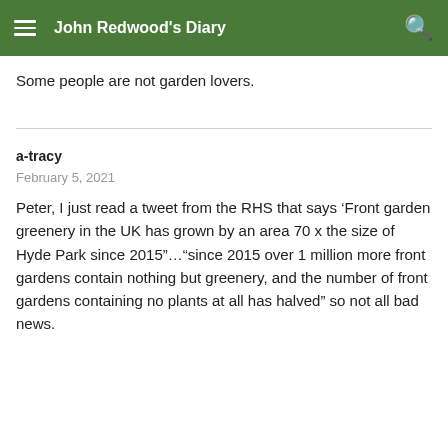John Redwood's Diary
Some people are not garden lovers.
a-tracy
February 5, 2021
Peter, I just read a tweet from the RHS that says ‘Front garden greenery in the UK has grown by an area 70 x the size of Hyde Park since 2015”…”since 2015 over 1 million more front gardens contain nothing but greenery, and the number of front gardens containing no plants at all has halved” so not all bad news.